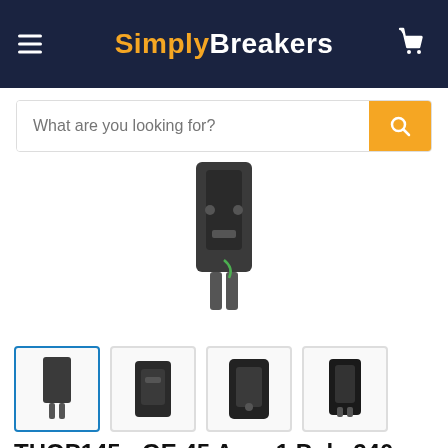SimplyBreakers
What are you looking for?
[Figure (photo): Circuit breaker product photo shown from bottom, displaying metal prongs and green wire]
[Figure (photo): Four thumbnail photos of circuit breaker from different angles]
THQP145 - GE 45 Amp 1 Pole 240 Volt Plug-In Molded Case Circuit Breaker
by GE